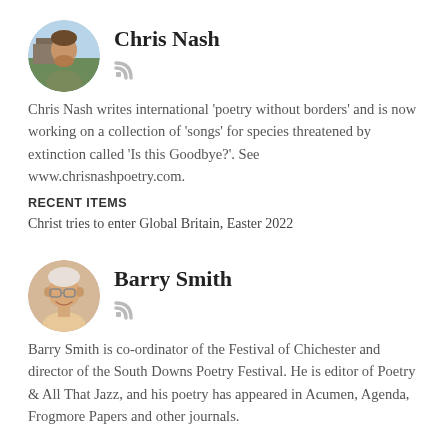[Figure (photo): Circular avatar photo of Chris Nash, a man outdoors]
Chris Nash
[Figure (other): RSS feed icon]
Chris Nash writes international ‘poetry without borders’ and is now working on a collection of ‘songs’ for species threatened by extinction called ‘Is this Goodbye?’. See www.chrisnashpoetry.com.
RECENT ITEMS
Christ tries to enter Global Britain, Easter 2022
[Figure (photo): Circular avatar photo of Barry Smith, an elderly man smiling]
Barry Smith
[Figure (other): RSS feed icon]
Barry Smith is co-ordinator of the Festival of Chichester and director of the South Downs Poetry Festival. He is editor of Poetry & All That Jazz, and his poetry has appeared in Acumen, Agenda, Frogmore Papers and other journals.